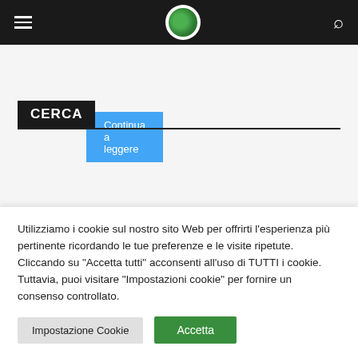[Figure (screenshot): Mobile website navigation bar with hamburger menu on left, circular logo in center, and search icon on right, dark background]
Continua a leggere
CERCA
[Figure (screenshot): Enhanced by Google search widget with search input field and blue search button]
Utilizziamo i cookie sul nostro sito Web per offrirti l'esperienza più pertinente ricordando le tue preferenze e le visite ripetute. Cliccando su "Accetta tutti" acconsenti all'uso di TUTTI i cookie. Tuttavia, puoi visitare "Impostazioni cookie" per fornire un consenso controllato.
Impostazione Cookie
Accetta